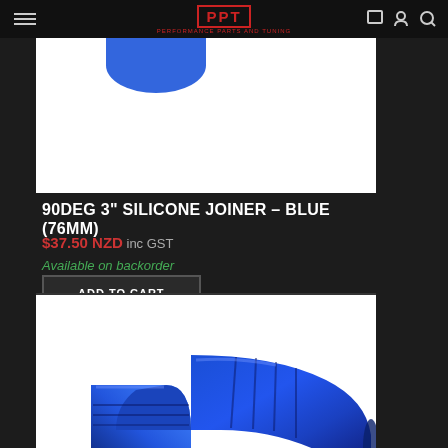PPT PERFORMANCE PARTS AND TUNING
[Figure (photo): Partial view of a blue silicone joiner/elbow hose piece on white background]
90DEG 3" SILICONE JOINER – BLUE (76MM)
$37.50 NZD inc GST
Available on backorder
ADD TO CART
[Figure (photo): Blue 90-degree silicone joiner hose elbow (76mm) photographed on white background showing ribbed texture]